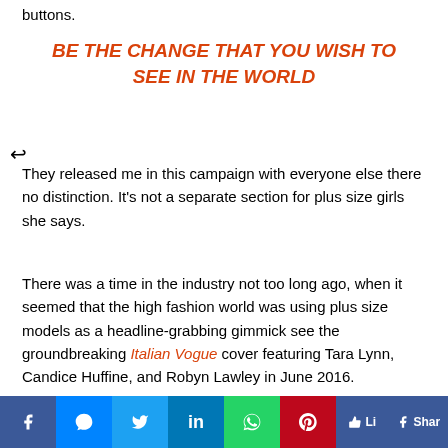buttons.
BE THE CHANGE THAT YOU WISH TO SEE IN THE WORLD
↵
They released me in this campaign with everyone else there no distinction. It's not a separate section for plus size girls she says.
There was a time in the industry not too long ago, when it seemed that the high fashion world was using plus size models as a headline-grabbing gimmick see the groundbreaking Italian Vogue cover featuring Tara Lynn, Candice Huffine, and Robyn Lawley in June 2016.
Related: Calendar Gets Its First Plus-Size Model 2016